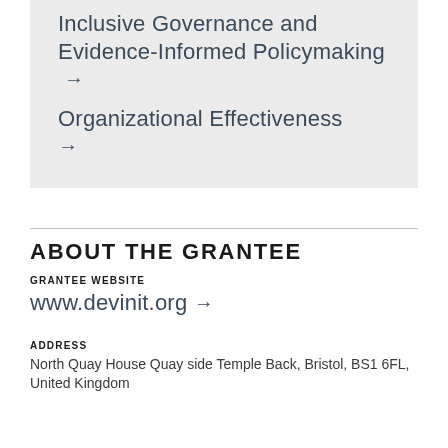Inclusive Governance and Evidence-Informed Policymaking →
Organizational Effectiveness →
ABOUT THE GRANTEE
GRANTEE WEBSITE
www.devinit.org →
ADDRESS
North Quay House Quay side Temple Back, Bristol, BS1 6FL, United Kingdom